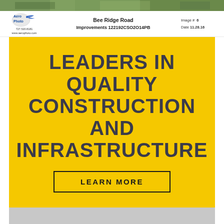[Figure (photo): Aerial photo strip showing road construction or greenery]
Aero Photo | 727.520.8181 | www.aerophoto.com | Bee Ridge Road Improvements 122192CSO2O14PB | Image # 6 | Date 11.28.16
LEADERS IN QUALITY CONSTRUCTION AND INFRASTRUCTURE
LEARN MORE
[Figure (photo): Gray placeholder image area at bottom]